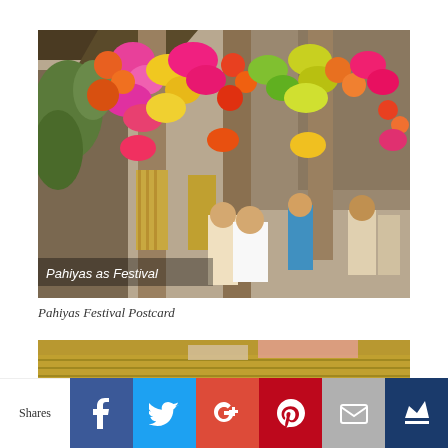[Figure (photo): Colorful Pahiyas Festival street scene with buildings decorated with vibrant flower garlands, woven rice wafers, and tropical fruits. Text overlay reads 'Pahiyas as Festival'. People walking in the street below.]
Pahiyas Festival Postcard
[Figure (photo): Partial view of another Pahiyas Festival postcard, showing a thatched roof structure in yellows and browns.]
Shares | Facebook | Twitter | Google+ | Pinterest | Email | Crown